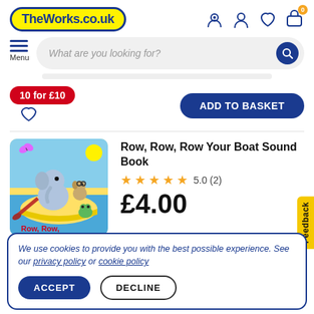[Figure (screenshot): TheWorks.co.uk website header with logo, navigation icons (location, account, wishlist, basket with 0 badge)]
[Figure (screenshot): Search bar with placeholder text 'What are you looking for?' and blue search button, with hamburger menu icon and Menu label]
10 for £10
ADD TO BASKET
Row, Row, Row Your Boat Sound Book
5.0 (2)
£4.00
Feedback
We use cookies to provide you with the best possible experience. See our privacy policy or cookie policy
ACCEPT
DECLINE